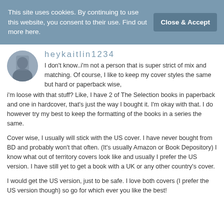This site uses cookies. By continuing to use this website, you consent to their use. Find out more here.
Close & Accept
heykaitlin1234
I don't know..i'm not a person that is super strict of mix and matching. Of course, I like to keep my cover styles the same but hard or paperback wise, i'm loose with that stuff? Like, I have 2 of The Selection books in paperback and one in hardcover, that's just the way I bought it. I'm okay with that. I do however try my best to keep the formatting of the books in a series the same.
Cover wise, I usually will stick with the US cover. I have never bought from BD and probably won't that often. (It's usually Amazon or Book Depository) I know what out of territory covers look like and usually I prefer the US version. I have still yet to get a book with a UK or any other country's cover.
I would get the US version, just to be safe. I love both covers (I prefer the US version though) so go for which ever you like the best!